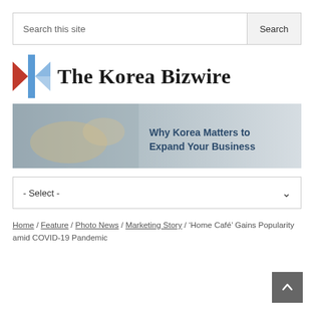Search this site
[Figure (infographic): The Korea Bizwire logo with a stylized K icon in red and blue]
[Figure (photo): Banner image showing hands working with documents overlaid with text: Why Korea Matters to Expand Your Business]
- Select -
Home / Feature / Photo News / Marketing Story / ‘Home Café’ Gains Popularity amid COVID-19 Pandemic